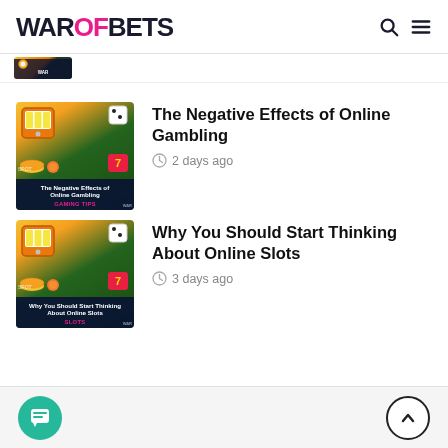WAROFBETS
[Figure (screenshot): Partial article thumbnail strip at top]
The Negative Effects of Online Gambling
2 days ago
[Figure (illustration): Thumbnail for 'The Negative Effects of Online Gambling' article showing casino gaming elements on dark blue background with GAMING TIPS tag]
Why You Should Start Thinking About Online Slots
3 days ago
[Figure (illustration): Thumbnail for 'Why You Should Start Thinking About Online Slots' article showing casino gaming elements on dark blue background with SLOTS tag]